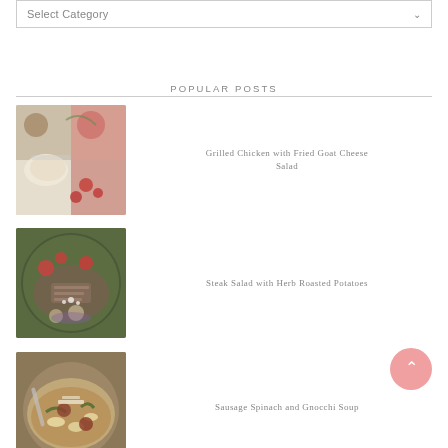Select Category
POPULAR POSTS
[Figure (photo): Overhead shot of raw chicken breasts, goat cheese, strawberries, pear, cherry tomatoes, red onion, and salad ingredients on a light blue surface]
Grilled Chicken with Fried Goat Cheese Salad
[Figure (photo): Steak salad in a white bowl with arugula, roasted potatoes, cherry tomatoes, radishes, red onion, feta cheese, and sliced steak]
Steak Salad with Herb Roasted Potatoes
[Figure (photo): Bowl of sausage spinach and gnocchi soup with a spoon, garnished with shredded parmesan]
Sausage Spinach and Gnocchi Soup